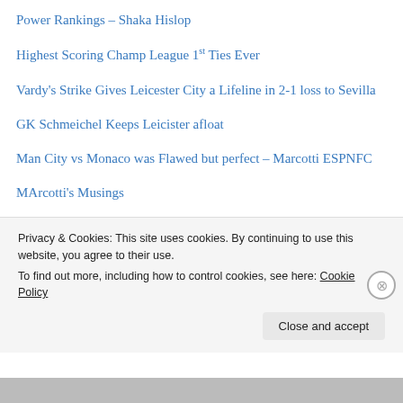Power Rankings – Shaka Hislop
Highest Scoring Champ League 1st Ties Ever
Vardy's Strike Gives Leicester City a Lifeline in 2-1 loss to Sevilla
GK Schmeichel Keeps Leicister afloat
Man City vs Monaco was Flawed but perfect – Marcotti ESPNFC
MArcotti's Musings
Privacy & Cookies: This site uses cookies. By continuing to use this website, you agree to their use.
To find out more, including how to control cookies, see here: Cookie Policy
Close and accept